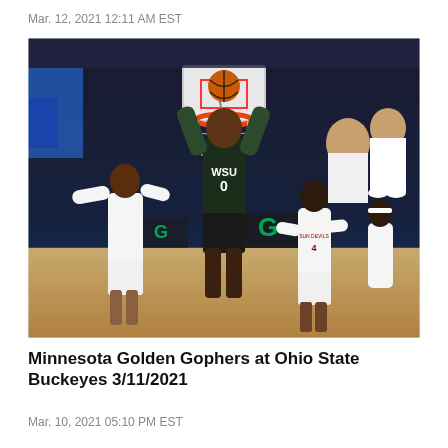Mar. 12, 2021 12:11 AM EST
[Figure (photo): Basketball action photo: A Washington State (WSU) player wearing number 0 in a dark uniform goes up for a dunk or layup at the basket, while Arizona State Sun Devils defenders in white uniforms attempt to defend. The arena has a dark background with a Gatorade G logo visible on the scorer's table. Spectators sit on chairs in the background.]
Minnesota Golden Gophers at Ohio State Buckeyes 3/11/2021
Mar. 10, 2021 05:10 PM EST